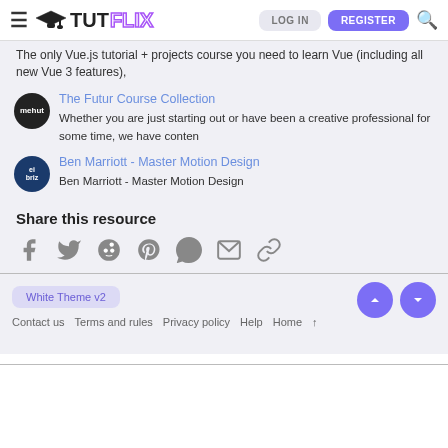TUTFLIX - LOG IN - REGISTER
The only Vue.js tutorial + projects course you need to learn Vue (including all new Vue 3 features),
The Futur Course Collection - Whether you are just starting out or have been a creative professional for some time, we have conten
Ben Marriott - Master Motion Design - Ben Marriott - Master Motion Design
Share this resource
Share icons: Facebook, Twitter, Reddit, Pinterest, WhatsApp, Email, Link
White Theme v2 | Contact us | Terms and rules | Privacy policy | Help | Home